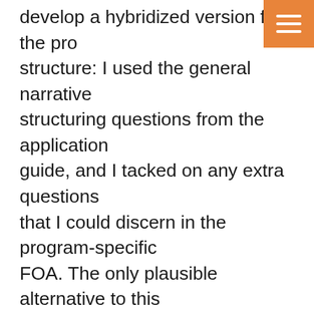develop a hybridized version for the pro structure: I used the general narrative structuring questions from the application guide, and I tacked on any extra questions that I could discern in the program-specific FOA. The only plausible alternative to this hybridized approach would have been to contact the NIH program officer listed in the FOA. As an experienced grant writer, however, I didn't reach out, because I know that program officers confronted with issues like this will respond with a version of "That's an interesting question. Read the FOA."